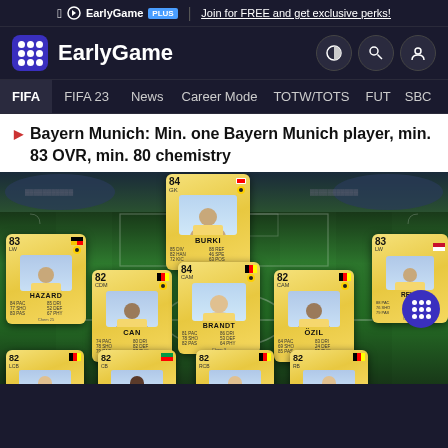EarlyGame PLUS | Join for FREE and get exclusive perks!
EarlyGame
FIFA | FIFA 23 | News | Career Mode | TOTW/TOTS | FUT | SBC
Bayern Munich: Min. one Bayern Munich player, min. 83 OVR, min. 80 chemistry
[Figure (screenshot): FIFA Ultimate Team squad builder showing a football pitch with several gold player cards including Burki (84), Hazard (83), Can (82), Brandt (84), Ozil (82), and other players rated 82, arranged in formation positions on a green pitch background.]